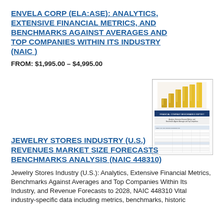ENVELA CORP (ELA:ASE): ANALYTICS, EXTENSIVE FINANCIAL METRICS, AND BENCHMARKS AGAINST AVERAGES AND TOP COMPANIES WITHIN ITS INDUSTRY (NAIC )
FROM: $1,995.00 – $4,995.00
[Figure (other): Thumbnail image of a financial benchmarks report cover page with gold bar chart graphic at top and tabular data below]
JEWELRY STORES INDUSTRY (U.S.) REVENUES MARKET SIZE FORECASTS BENCHMARKS ANALYSIS (NAIC 448310)
Jewelry Stores Industry (U.S.): Analytics, Extensive Financial Metrics, Benchmarks Against Averages and Top Companies Within Its Industry, and Revenue Forecasts to 2028, NAIC 448310 Vital industry-specific data including metrics, benchmarks, historic